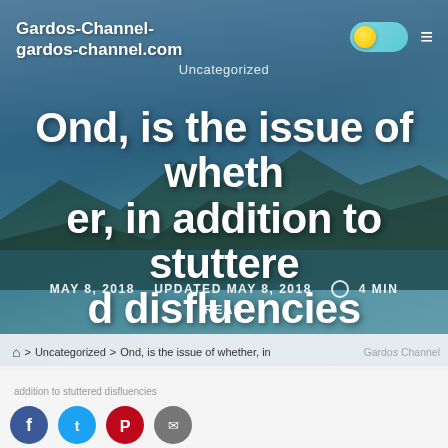Gardos-Channel-
gardos-channel.com
Uncategorized
Ond, is the issue of whether, in addition to stuttered disfluencies
MAY 8, 2018   UPDATED MAY 8, 2018   4 MIN READ
⌂ > Uncategorized > Ond, is the issue of whether, in
[Figure (screenshot): Social sharing icons: Facebook (blue), Twitter (blue), Pinterest (red), Email (gray)]